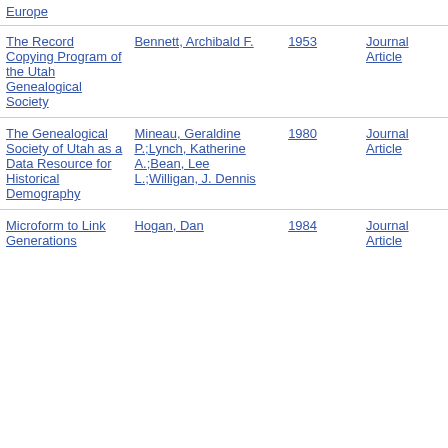| Title | Author | Year | Type |
| --- | --- | --- | --- |
| Europe |  |  |  |
| The Record Copying Program of the Utah Genealogical Society | Bennett, Archibald F. | 1953 | Journal Article |
| The Genealogical Society of Utah as a Data Resource for Historical Demography | Mineau, Geraldine P.;Lynch, Katherine A.;Bean, Lee L.;Willigan, J. Dennis | 1980 | Journal Article |
| Microform to Link Generations | Hogan, Dan | 1984 | Journal Article |